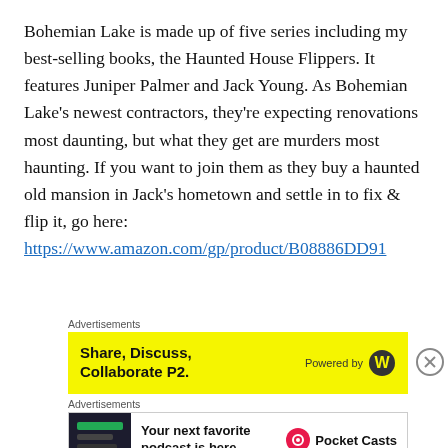Bohemian Lake is made up of five series including my best-selling books, the Haunted House Flippers. It features Juniper Palmer and Jack Young. As Bohemian Lake's newest contractors, they're expecting renovations most daunting, but what they get are murders most haunting. If you want to join them as they buy a haunted old mansion in Jack's hometown and settle in to fix & flip it, go here: https://www.amazon.com/gp/product/B08886DD91
Advertisements
[Figure (other): Yellow advertisement banner: Share, Discuss, Collaborate P2. Powered by WordPress logo.]
Advertisements
[Figure (other): Podcast advertisement: Your next favorite podcast is here. Pocket Casts logo.]